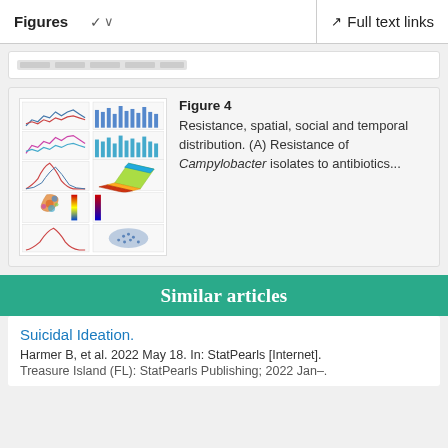Figures  ∨   Full text links
[Figure (other): Partial figure card visible at top of page, showing a blurred figure thumbnail strip]
[Figure (infographic): Figure 4 thumbnail showing multiple panels: line charts, bar charts, 3D surface plot, UK map with colored regions, and scatter plots representing resistance, spatial, social and temporal distribution data for Campylobacter]
Figure 4 Resistance, spatial, social and temporal distribution. (A) Resistance of Campylobacter isolates to antibiotics...
Similar articles
Suicidal Ideation.
Harmer B, et al. 2022 May 18. In: StatPearls [Internet].
Treasure Island (FL): StatPearls Publishing; 2022 Jan–.